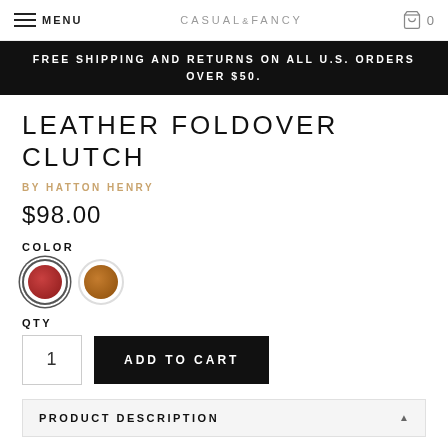MENU | CASUAL&FANCY | 0
FREE SHIPPING AND RETURNS ON ALL U.S. ORDERS OVER $50.
LEATHER FOLDOVER CLUTCH
BY HATTON HENRY
$98.00
COLOR
[Figure (illustration): Two color swatches: red leather swatch (selected, with border) and tan/cognac leather swatch]
QTY
1
ADD TO CART
PRODUCT DESCRIPTION